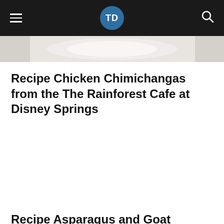TD
[Figure (photo): Partial view of a food photo at the top of the page, showing a light-colored plate or dish against a white background]
Recipe Chicken Chimichangas from the The Rainforest Cafe at Disney Springs
Recipe Asparagus and Goat Cheese Tart from Raglan Road at Disney...